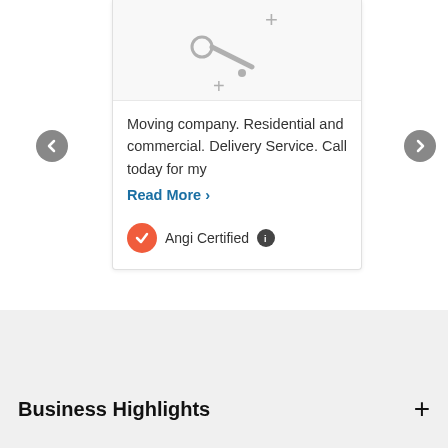[Figure (screenshot): Card with placeholder image showing moving/delivery service icons (key, dots, plus signs) in gray on white background]
Moving company. Residential and commercial. Delivery Service. Call today for my
Read More >
Angi Certified
Business Highlights